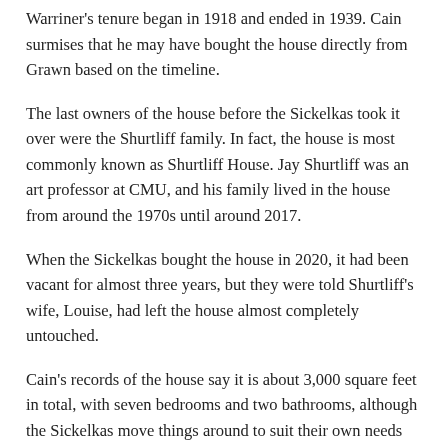Warriner's tenure began in 1918 and ended in 1939. Cain surmises that he may have bought the house directly from Grawn based on the timeline.
The last owners of the house before the Sickelkas took it over were the Shurtliff family. In fact, the house is most commonly known as Shurtliff House. Jay Shurtliff was an art professor at CMU, and his family lived in the house from around the 1970s until around 2017.
When the Sickelkas bought the house in 2020, it had been vacant for almost three years, but they were told Shurtliff's wife, Louise, had left the house almost completely untouched.
Cain's records of the house say it is about 3,000 square feet in total, with seven bedrooms and two bathrooms, although the Sickelkas move things around to suit their own needs within the house.